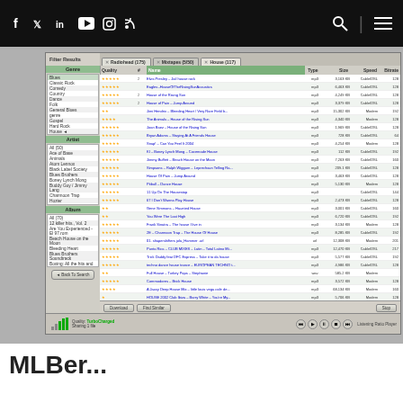Navigation bar with social icons (Facebook, Twitter, LinkedIn, YouTube, Instagram, RSS), search icon, and menu icon
[Figure (screenshot): Screenshot of a peer-to-peer file sharing application (Kazaa or similar) showing search results for 'House' music. Left panel shows Genre, Artist, and Album filters. Right panel shows a list of search results including songs by Elvis Presley, Eagles, House of the Rising Sun, House of Pain, Jimi Hendrix, Joan Baez, Bryan Adams, Snap!, Boney M, Jimmy Buffett, Gomez, House of Pain, Pitbull, Commodores, Gene Simmons, Frank Sinatra, Punta Rica, Trick Daddy, Norah Jones and others. Columns show Quality (stars), #, Name, Type (mp3/wav), Size (KB), Speed (Cable/DSL or Modem), and Bitrate. Bottom status bar shows Quality: TurboCharged, Sharing 1 file, with player controls.]
MLBer...